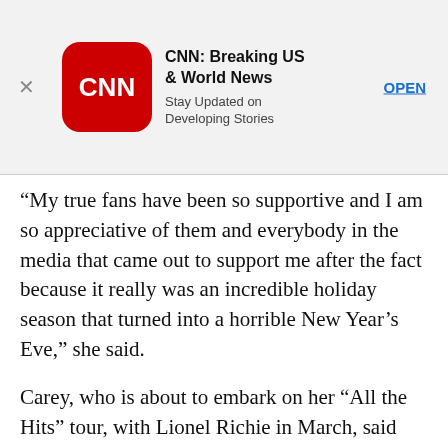[Figure (screenshot): CNN app advertisement banner with close button (×), CNN logo (red rounded square with white CNN text), app name 'CNN: Breaking US & World News', subtitle 'Stay Updated on Developing Stories', and an OPEN button in blue]
“My true fans have been so supportive and I am so appreciative of them and everybody in the media that came out to support me after the fact because it really was an incredible holiday season that turned into a horrible New Year’s Eve,” she said.
Carey, who is about to embark on her “All the Hits” tour, with Lionel Richie in March, said this won’t stop her from future live performances like the one on New Year’s Eve.